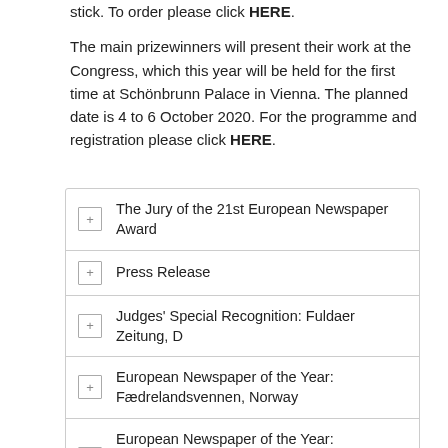stick. To order please click HERE.
The main prizewinners will present their work at the Congress, which this year will be held for the first time at Schönbrunn Palace in Vienna. The planned date is 4 to 6 October 2020. For the programme and registration please click HERE.
The Jury of the 21st European Newspaper Award
Press Release
Judges' Special Recognition: Fuldaer Zeitung, D
European Newspaper of the Year: Fædrelandsvennen, Norway
European Newspaper of the Year: Leeuwarder Courant, NL